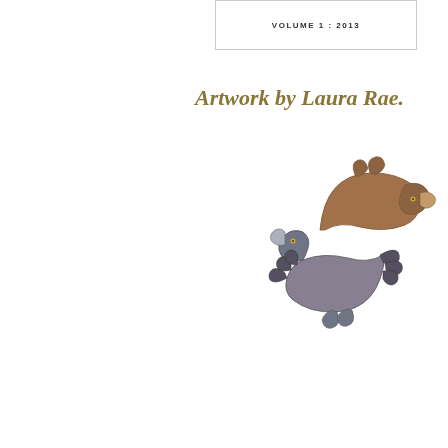VOLUME 1 : 2013
Artwork by Laura Rae.
[Figure (illustration): Two mythical creature-like animals (resembling dog/wolf/jackalope hybrids with antlers/claws) arranged in a circular yin-yang-like composition. The upper creature is brown/tan colored and curves over the top. The lower creature is grey/dark and curves below, with claws extended. Both have rabbit-like ears and elongated snouts.]